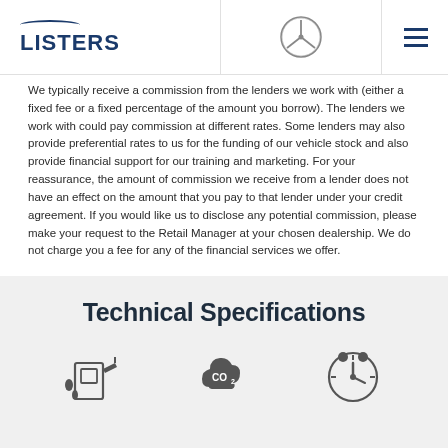Listers Mercedes-Benz
We typically receive a commission from the lenders we work with (either a fixed fee or a fixed percentage of the amount you borrow). The lenders we work with could pay commission at different rates. Some lenders may also provide preferential rates to us for the funding of our vehicle stock and also provide financial support for our training and marketing. For your reassurance, the amount of commission we receive from a lender does not have an effect on the amount that you pay to that lender under your credit agreement. If you would like us to disclose any potential commission, please make your request to the Retail Manager at your chosen dealership. We do not charge you a fee for any of the financial services we offer.
Technical Specifications
[Figure (illustration): Three icons at the bottom of the page representing fuel/liquid drops, CO2 emissions, and a speedometer/clock gauge, shown partially cut off at the page bottom.]